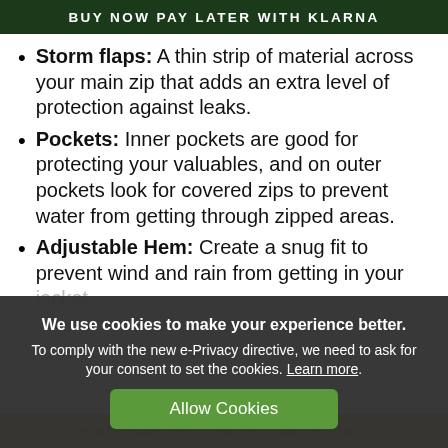BUY NOW PAY LATER WITH KLARNA
Storm flaps: A thin strip of material across your main zip that adds an extra level of protection against leaks.
Pockets: Inner pockets are good for protecting your valuables, and on outer pockets look for covered zips to prevent water from getting through zipped areas.
Adjustable Hem: Create a snug fit to prevent wind and rain from getting in your jacket.
We use cookies to make your experience better. To comply with the new e-Privacy directive, we need to ask for your consent to set the cookies. Learn more.
Allow Cookies
% OFF YOUR FIRST ORDER: SIGN UP NOW >